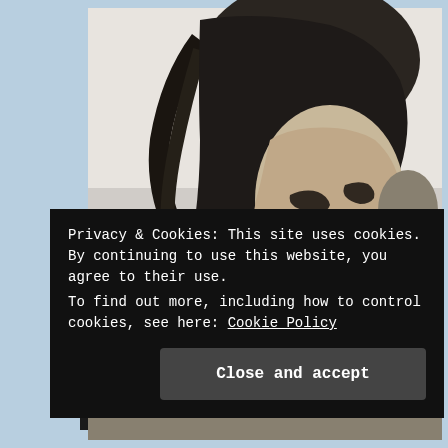[Figure (photo): Black and white photograph of a woman with long dark wind-blown hair, appearing distressed, holding her hand to her mouth, looking upward. A blurred figure is visible behind her. Light background.]
Privacy & Cookies: This site uses cookies. By continuing to use this website, you agree to their use.
To find out more, including how to control cookies, see here: Cookie Policy
Close and accept